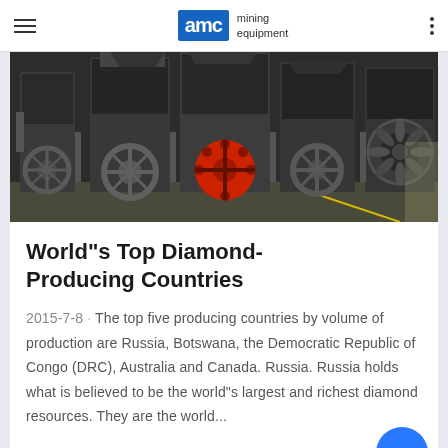AMC mining equipment
[Figure (photo): Industrial mining equipment / crushers in a factory setting, showing large machines with flywheel pulleys, one red and others grey, arranged in a row on a factory floor.]
World"s Top Diamond-Producing Countries
2015-7-8 · The top five producing countries by volume of production are Russia, Botswana, the Democratic Republic of Congo (DRC), Australia and Canada. Russia. Russia holds what is believed to be the world"s largest and richest diamond resources. They are the world...